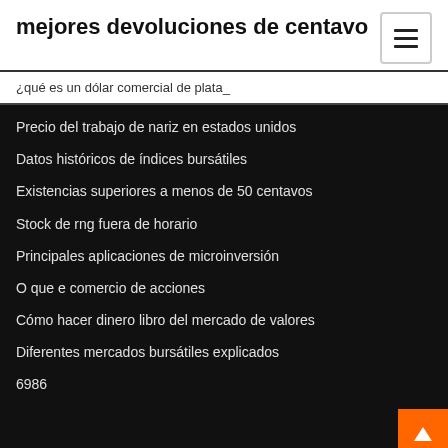mejores devoluciones de centavo
¿qué es un dólar comercial de plata_
Precio del trabajo de nariz en estados unidos
Datos históricos de índices bursátiles
Existencias superiores a menos de 50 centavos
Stock de rng fuera de horario
Principales aplicaciones de microinversión
O que e comercio de acciones
Cómo hacer dinero libro del mercado de valores
Diferentes mercados bursátiles explicados
6986